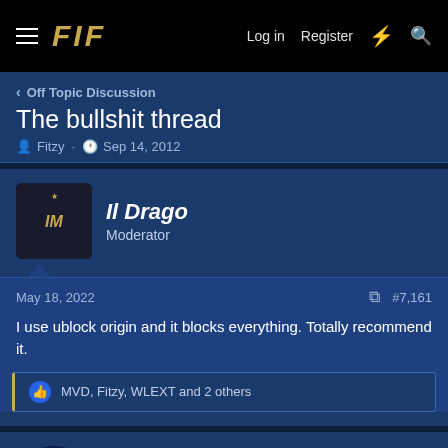FIF — Log in  Register
< Off Topic Discussion
The bullshit thread
Fitzy · Sep 14, 2012
Il Drago
Moderator
May 18, 2022  #7,161
I use ublock origin and it blocks everything. Totally recommend it.
MVD, Fitzy, WLEXT and 2 others
brehme1989
La Grande Inter